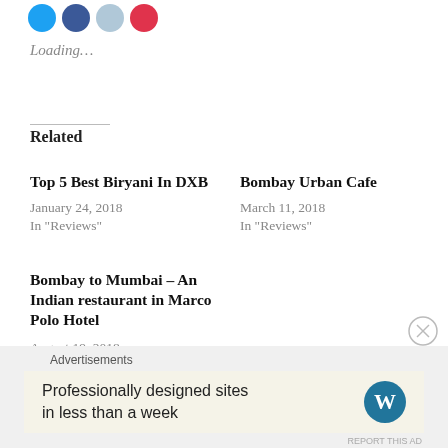[Figure (illustration): Four social media share icon circles (blue Twitter, blue Facebook, light blue, red Pinterest) partially visible at top]
Loading…
Related
Top 5 Best Biryani In DXB
January 24, 2018
In "Reviews"
Bombay Urban Cafe
March 11, 2018
In "Reviews"
Bombay to Mumbai – An Indian restaurant in Marco Polo Hotel
August 19, 2018
In "Reviews"
Advertisements
[Figure (logo): WordPress logo - circular with W inside, advertisement banner reading 'Professionally designed sites in less than a week']